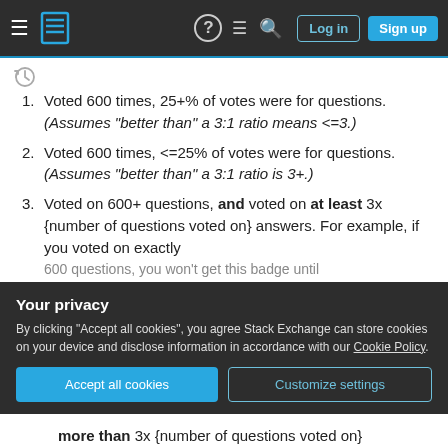Stack Exchange navigation bar with hamburger menu, logo, help, chat, search icons, Log in and Sign up buttons
Voted 600 times, 25+% of votes were for questions. (Assumes "better than" a 3:1 ratio means <=3.)
Voted 600 times, <=25% of votes were for questions. (Assumes "better than" a 3:1 ratio is 3+.)
Voted on 600+ questions, and voted on at least 3x {number of questions voted on} answers. For example, if you voted on exactly 600 questions, you won't get this badge until more than 3x {number of questions voted on}
Your privacy
By clicking "Accept all cookies", you agree Stack Exchange can store cookies on your device and disclose information in accordance with our Cookie Policy.
Accept all cookies  Customize settings